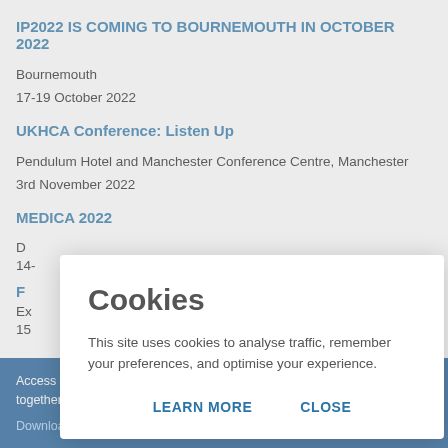IP2022 IS COMING TO BOURNEMOUTH IN OCTOBER 2022
Bournemouth
17-19 October 2022
UKHCA Conference: Listen Up
Pendulum Hotel and Manchester Conference Centre, Manchester
3rd November 2022
MEDICA 2022
D...
14-...
F...
Ex...
15...
[Figure (other): Cookie consent modal dialog with title 'Cookies', body text 'This site uses cookies to analyse traffic, remember your preferences, and optimise your experience.', and two buttons: LEARN MORE and CLOSE]
Access the latest issue of Clinical Services Journal on your mobile device together with an archive of back issues.
Download the FREE Clinical Services Journal app from your device...